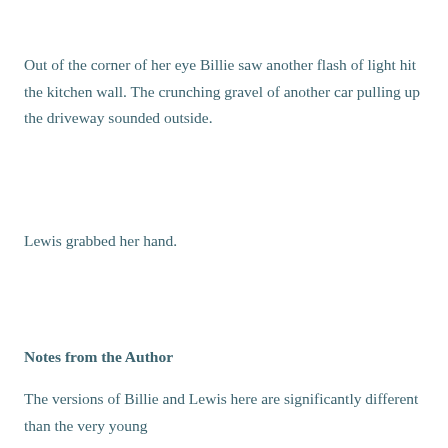Out of the corner of her eye Billie saw another flash of light hit the kitchen wall. The crunching gravel of another car pulling up the driveway sounded outside.
Lewis grabbed her hand.
Notes from the Author
The versions of Billie and Lewis here are significantly different than the very young